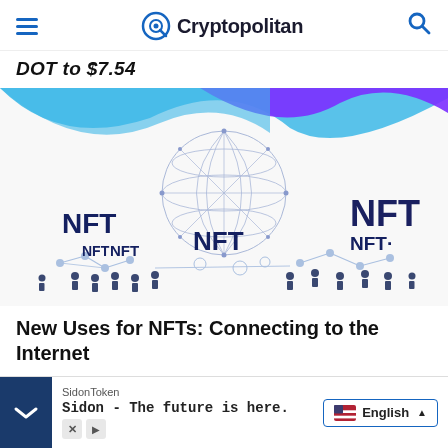Cryptopolitan
DOT to $7.54
[Figure (illustration): NFT network illustration showing a wireframe globe with network nodes and human figures connected by lines, with the words 'NFT' appearing multiple times in dark blue text on a white background. Abstract blue and purple wave shapes appear at the top.]
New Uses for NFTs: Connecting to the Internet
SidonToken
Sidon - The future is here.